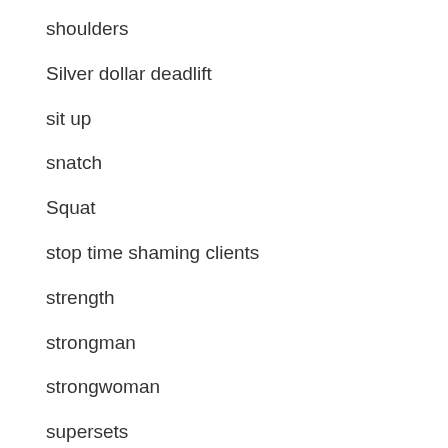shoulders
Silver dollar deadlift
sit up
snatch
Squat
stop time shaming clients
strength
strongman
strongwoman
supersets
Tamara Walcott
Taylor Williamson